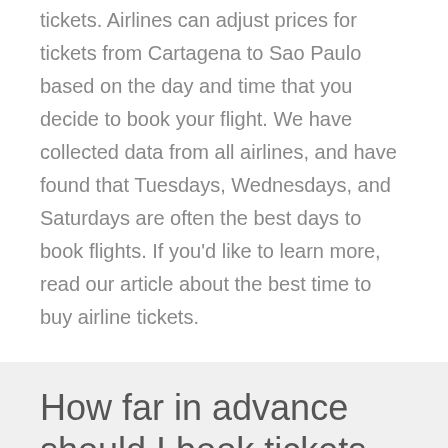tickets. Airlines can adjust prices for tickets from Cartagena to Sao Paulo based on the day and time that you decide to book your flight. We have collected data from all airlines, and have found that Tuesdays, Wednesdays, and Saturdays are often the best days to book flights. If you'd like to learn more, read our article about the best time to buy airline tickets.
How far in advance should I book tickets from Cartagena to Sao Paulo?